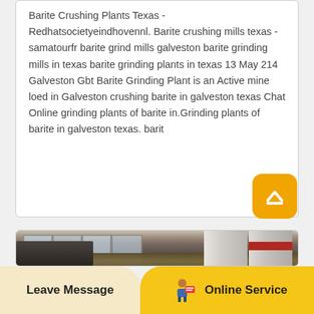Barite Crushing Plants Texas - Redhatsocietyeindhovennl. Barite crushing mills texas - samatourfr barite grind mills galveston barite grinding mills in texas barite grinding plants in texas 13 May 214 Galveston Gbt Barite Grinding Plant is an Active mine loed in Galveston crushing barite in galveston texas Chat Online grinding plants of barite in.Grinding plants of barite in galveston texas. barit
[Figure (photo): Interior of an industrial facility/warehouse showing large windows with grid panes on the left wall, a heavy wooden ceiling beam, and large white industrial silos or tanks on the right side.]
Leave Message
Online Service